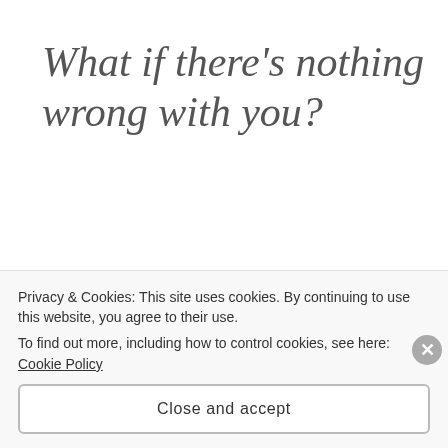What if there’s nothing wrong with you?
AUGUST 22, 2019
TASHACAUFIELD
LEAVE A COMMENT
What’s up, you sexy guys and dolls!
Privacy & Cookies: This site uses cookies. By continuing to use this website, you agree to their use.
To find out more, including how to control cookies, see here: Cookie Policy
Close and accept